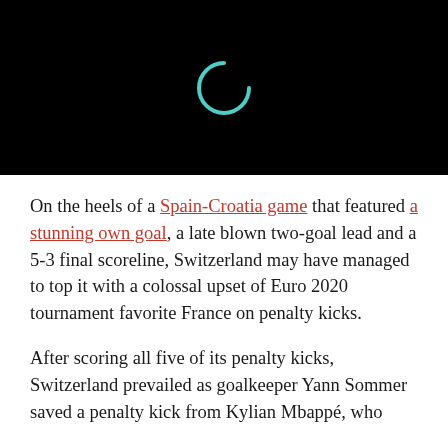[Figure (screenshot): Black video player area with a teal/cyan loading spinner arc in the center]
On the heels of a Spain-Croatia game that featured a stunning own goal, a late blown two-goal lead and a 5-3 final scoreline, Switzerland may have managed to top it with a colossal upset of Euro 2020 tournament favorite France on penalty kicks.
After scoring all five of its penalty kicks, Switzerland prevailed as goalkeeper Yann Sommer saved a penalty kick from Kylian Mbappé, who